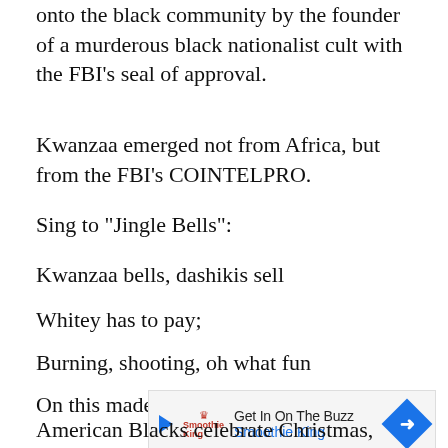onto the black community by the founder of a murderous black nationalist cult with the FBI's seal of approval.
Kwanzaa emerged not from Africa, but from the FBI's COINTELPRO.
Sing to "Jingle Bells":
Kwanzaa bells, dashikis sell
Whitey has to pay;
Burning, shooting, oh what fun
On this made-up holiday!
[Figure (screenshot): Advertisement banner for Smoothie King: 'Get In On The Buzz' with play button, crown logo, and blue diamond arrow icon]
American Blacks celebrate Christmas,